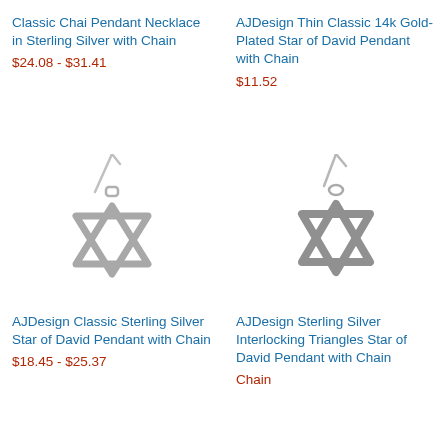Classic Chai Pendant Necklace in Sterling Silver with Chain
$24.08 - $31.41
AJDesign Thin Classic 14k Gold-Plated Star of David Pendant with Chain
$11.52
[Figure (photo): Star of David silver pendant with chain, classic open style]
[Figure (photo): Star of David silver interlocking triangles pendant with chain]
AJDesign Classic Sterling Silver Star of David Pendant with Chain
$18.45 - $25.37
AJDesign Sterling Silver Interlocking Triangles Star of David Pendant with Chain
Chain